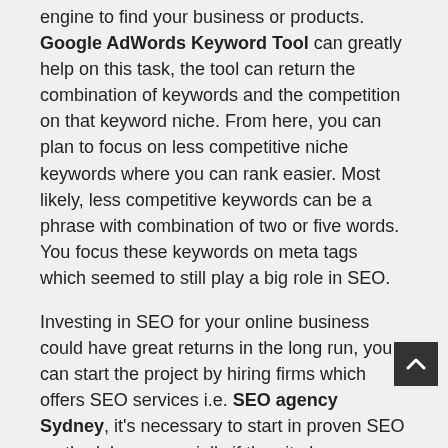engine to find your business or products. Google AdWords Keyword Tool can greatly help on this task, the tool can return the combination of keywords and the competition on that keyword niche. From here, you can plan to focus on less competitive niche keywords where you can rank easier. Most likely, less competitive keywords can be a phrase with combination of two or five words. You focus these keywords on meta tags which seemed to still play a big role in SEO.
Investing in SEO for your online business could have great returns in the long run, you can start the project by hiring firms which offers SEO services i.e. SEO agency Sydney, it's necessary to start in proven SEO methodology especially if the site have existing contents that needs to be optimized.
Content is King